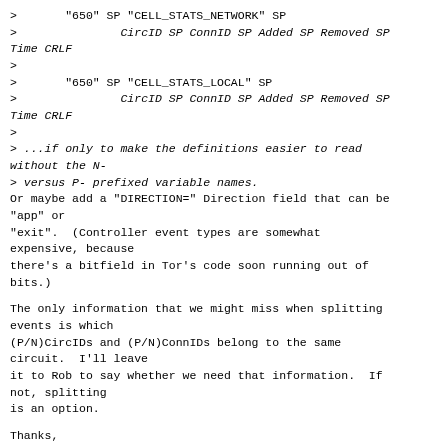>       "650" SP "CELL_STATS_NETWORK" SP
>               CircID SP ConnID SP Added SP Removed SP Time CRLF
>
>       "650" SP "CELL_STATS_LOCAL" SP
>               CircID SP ConnID SP Added SP Removed SP Time CRLF
>
> ...if only to make the definitions easier to read without the N-
> versus P- prefixed variable names.
Or maybe add a "DIRECTION=" Direction field that can be "app" or
"exit".  (Controller event types are somewhat expensive, because
there's a bitfield in Tor's code soon running out of bits.)
The only information that we might miss when splitting events is which
(P/N)CircIDs and (P/N)ConnIDs belong to the same circuit.  I'll leave
it to Rob to say whether we need that information.  If not, splitting
is an option.
Thanks,
Karsten